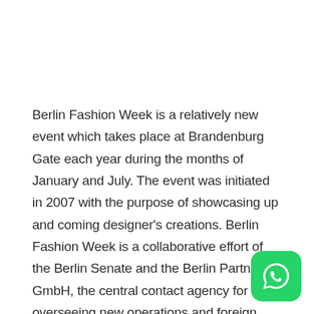Berlin Fashion Week is a relatively new event which takes place at Brandenburg Gate each year during the months of January and July.  The event was initiated in 2007 with the purpose of showcasing up and coming designer's creations.  Berlin Fashion Week is a collaborative effort of the Berlin Senate and the Berlin Partner GmbH, the central contact agency for overseeing new operations and foreign trade to promote Berlin as a business hub.  The event is sponsored by Mercedes-Benz which also sponsors a series of other fashion industry events.
[Figure (logo): WhatsApp green rounded square icon with white phone handset inside]